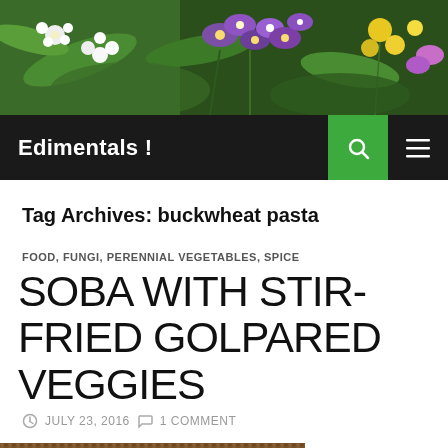[Figure (photo): Colorful flower header image with purple, yellow, white, and green flowers and foliage]
Edimentals !
Tag Archives: buckwheat pasta
FOOD, FUNGI, PERENNIAL VEGETABLES, SPICE
SOBA WITH STIR-FRIED GOLPARED VEGGIES
JULY 23, 2016  1 COMMENT
[Figure (photo): Food photo showing soba dish with stir-fried vegetables]
I made soba with stir-fried